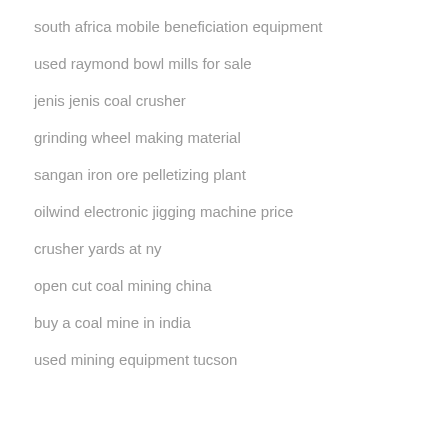south africa mobile beneficiation equipment
used raymond bowl mills for sale
jenis jenis coal crusher
grinding wheel making material
sangan iron ore pelletizing plant
oilwind electronic jigging machine price
crusher yards at ny
open cut coal mining china
buy a coal mine in india
used mining equipment tucson